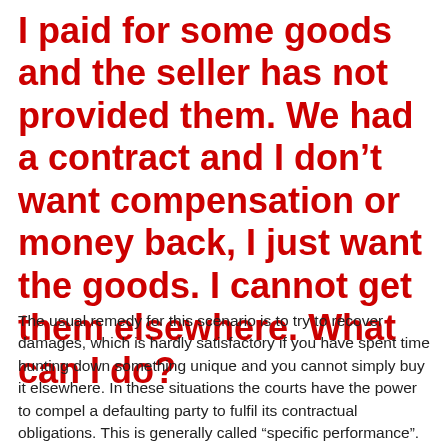I paid for some goods and the seller has not provided them. We had a contract and I don't want compensation or money back, I just want the goods. I cannot get them elsewhere. What can I do?
The usual remedy for this scenario is to try to recover damages, which is hardly satisfactory if you have spent time hunting down something unique and you cannot simply buy it elsewhere. In these situations the courts have the power to compel a defaulting party to fulfil its contractual obligations. This is generally called "specific performance".